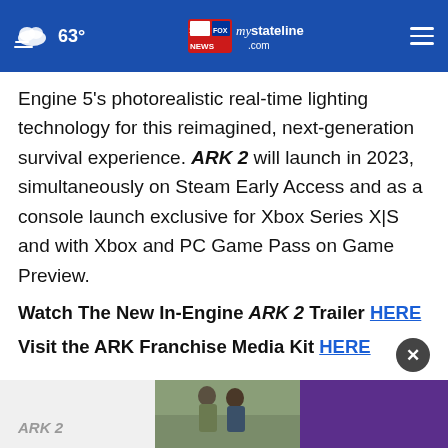63° mystateline.com NEWS
Engine 5's photorealistic real-time lighting technology for this reimagined, next-generation survival experience. ARK 2 will launch in 2023, simultaneously on Steam Early Access and as a console launch exclusive for Xbox Series X|S and with Xbox and PC Game Pass on Game Preview.
Watch The New In-Engine ARK 2 Trailer HERE
Visit the ARK Franchise Media Kit HERE
[Figure (photo): Advertisement banner at bottom showing two men outdoors on left side and a purple/violet background on right side, with ARK 2 label partially visible on the left]
ARK 2